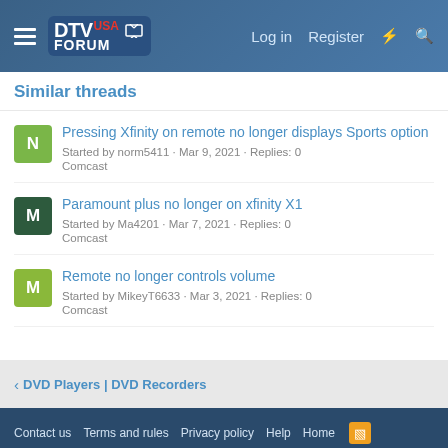DTV USA FORUM | Log in | Register
Similar threads
Pressing Xfinity on remote no longer displays Sports option
Started by norm5411 · Mar 9, 2021 · Replies: 0
Comcast
Paramount plus no longer on xfinity X1
Started by Ma4201 · Mar 7, 2021 · Replies: 0
Comcast
Remote no longer controls volume
Started by MikeyT6633 · Mar 3, 2021 · Replies: 0
Comcast
< DVD Players | DVD Recorders
Contact us   Terms and rules   Privacy policy   Help   Home
Forum software by XenForo™ © 2010-2018 XenForo Ltd.